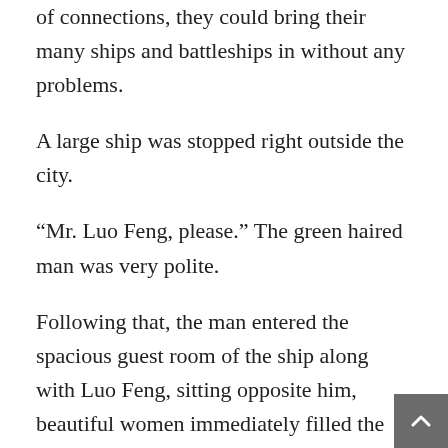of connections, they could bring their many ships and battleships in without any problems.
A large ship was stopped right outside the city.
“Mr. Luo Feng, please.” The green haired man was very polite.
Following that, the man entered the spacious guest room of the ship along with Luo Feng, sitting opposite him, beautiful women immediately filled the table in front of them with delicacies.
“May I know where Mr. Luo Feng is from?” The green haired man asked curiously.
“My apologies, I do not wish to divulge.” Luo Feng said